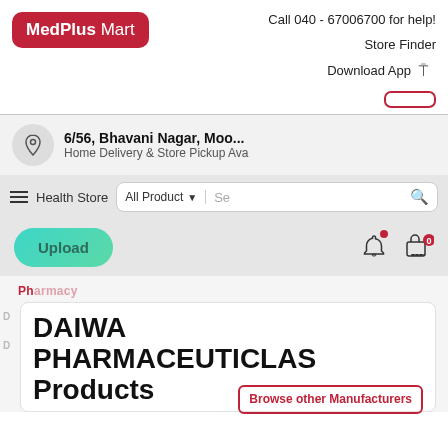[Figure (logo): MedPlus Mart logo — red rounded rectangle with white text]
Call 040 - 67006700 for help!
Store Finder
Download App
6/56, Bhavani Nagar, Moo...
Home Delivery & Store Pickup Ava
Health Store
All Product
Upload
DAIWA PHARMACEUTICLAS Products
Browse other Manufacturers